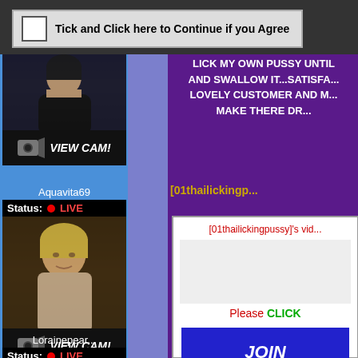Tick and Click here to Continue if you Agree
[Figure (photo): Dark-haired woman profile photo]
[Figure (screenshot): VIEW CAM! button with webcam icon]
Aquavita69
Status: LIVE
[Figure (photo): Blonde woman profile photo]
[Figure (screenshot): VIEW CAM! button with webcam icon]
Lorainepear...
Status: LIVE
[Figure (photo): Dark-haired woman profile photo]
What [01thai...
LICK MY OWN PUSSY UNTIL AND SWALLOW IT...SATISFA... LOVELY CUSTOMER AND M... MAKE THERE DR...
[01thailickingp...
[01thailickingpussy]'s vid...
Please CLICK
JOIN